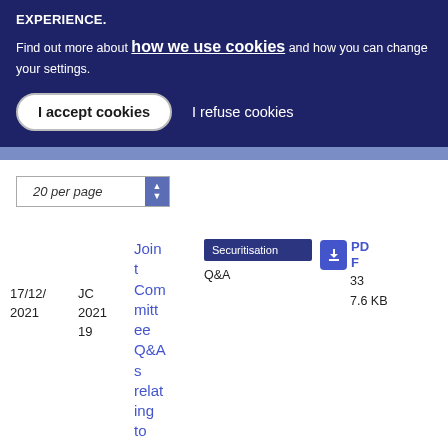EXPERIENCE.
Find out more about how we use cookies and how you can change your settings.
I accept cookies
I refuse cookies
20 per page
17/12/2021
JC 2021 19
Joint Committee Q&As relating to
Securitisation
Q&A
PDF
33
7.6 KB